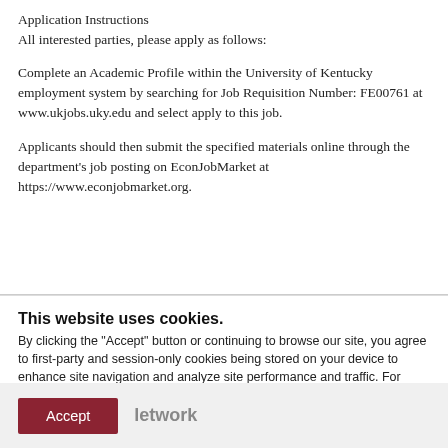Application Instructions
All interested parties, please apply as follows:
Complete an Academic Profile within the University of Kentucky employment system by searching for Job Requisition Number: FE00761 at www.ukjobs.uky.edu and select apply to this job.
Applicants should then submit the specified materials online through the department's job posting on EconJobMarket at https://www.econjobmarket.org.
This website uses cookies.
By clicking the "Accept" button or continuing to browse our site, you agree to first-party and session-only cookies being stored on your device to enhance site navigation and analyze site performance and traffic. For more information on our use of cookies, please see our Privacy Policy.
Accept